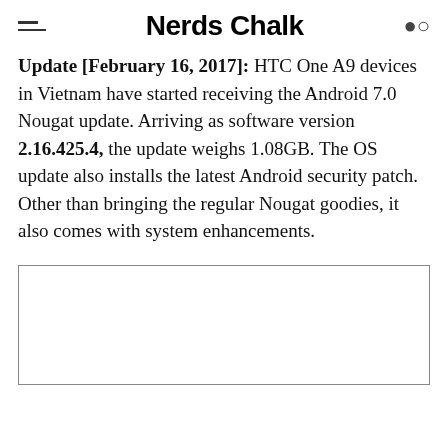Nerds Chalk
Update [February 16, 2017]: HTC One A9 devices in Vietnam have started receiving the Android 7.0 Nougat update. Arriving as software version 2.16.425.4, the update weighs 1.08GB. The OS update also installs the latest Android security patch. Other than bringing the regular Nougat goodies, it also comes with system enhancements.
[Figure (other): Empty image box / advertisement placeholder]